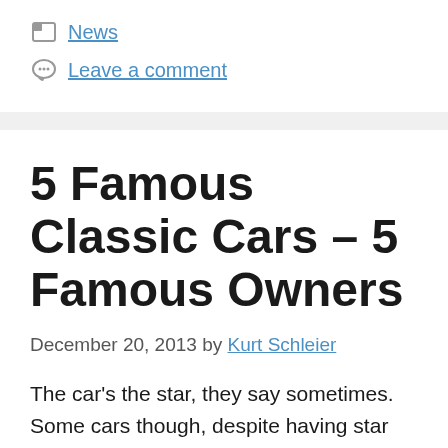News
Leave a comment
5 Famous Classic Cars – 5 Famous Owners
December 20, 2013 by Kurt Schleier
The car's the star, they say sometimes. Some cars though, despite having star qualities, are dwarfed by their owners. Some